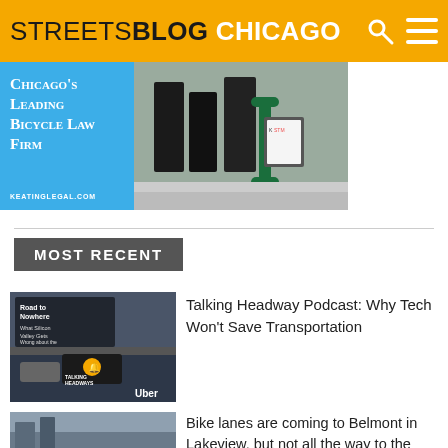STREETSBLOG CHICAGO
[Figure (photo): Advertisement for Keating Legal, Chicago's leading bicycle law firm, with photo of people near a green bike rack]
MOST RECENT
[Figure (photo): Thumbnail for Talking Headway Podcast: Road to Nowhere – What Silicon Valley Gets Wrong about the Future of Transportation, showing Uber dashboard and podcast logo]
Talking Headway Podcast: Why Tech Won't Save Transportation
[Figure (photo): Thumbnail street photo for Bike lanes article]
Bike lanes are coming to Belmont in Lakeview, but not all the way to the lakefront